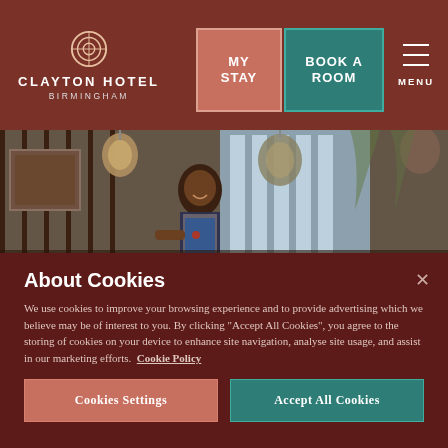CLAYTON HOTEL BIRMINGHAM — MY STAY | BOOK A ROOM | MENU
[Figure (photo): Interior photo of a hotel bar/restaurant with a smiling bartender in an apron, pendant lights, and large windows with trees visible outside.]
About Cookies
We use cookies to improve your browsing experience and to provide advertising which we believe may be of interest to you. By clicking "Accept All Cookies", you agree to the storing of cookies on your device to enhance site navigation, analyse site usage, and assist in our marketing efforts.  Cookie Policy
Cookies Settings | Accept All Cookies